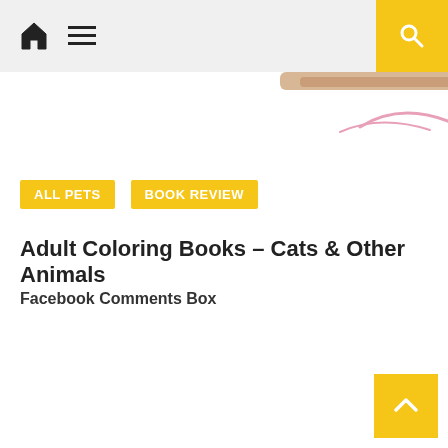Home | Menu | Search
[Figure (illustration): Partial image of a coloring book or cat illustration visible at the top, showing brown/tan and pink curved lines on white background]
ALL PETS
BOOK REVIEW
Adult Coloring Books – Cats & Other Animals
Facebook Comments Box